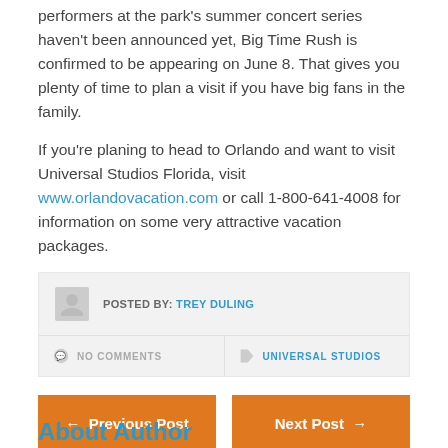performers at the park's summer concert series haven't been announced yet, Big Time Rush is confirmed to be appearing on June 8. That gives you plenty of time to plan a visit if you have big fans in the family.
If you're planing to head to Orlando and want to visit Universal Studios Florida, visit www.orlandovacation.com or call 1-800-641-4008 for information on some very attractive vacation packages.
POSTED BY: TREY DULING
NO COMMENTS
UNIVERSAL STUDIOS
← Previous Post
Next Post →
About Author